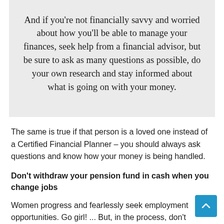And if you're not financially savvy and worried about how you'll be able to manage your finances, seek help from a financial advisor, but be sure to ask as many questions as possible, do your own research and stay informed about what is going on with your money.
The same is true if that person is a loved one instead of a Certified Financial Planner – you should always ask questions and know how your money is being handled.
Don't withdraw your pension fund in cash when you change jobs
Women progress and fearlessly seek employment opportunities. Go girl! ... But, in the process, don't compromise on your long-term financial planning goals by not acknowledging